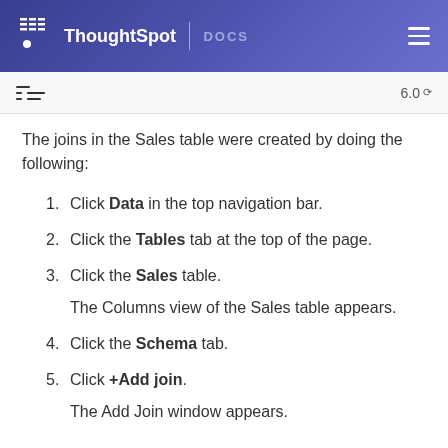ThoughtSpot | DOCS
The joins in the Sales table were created by doing the following:
1. Click Data in the top navigation bar.
2. Click the Tables tab at the top of the page.
3. Click the Sales table.
The Columns view of the Sales table appears.
4. Click the Schema tab.
5. Click +Add join.
The Add Join window appears.